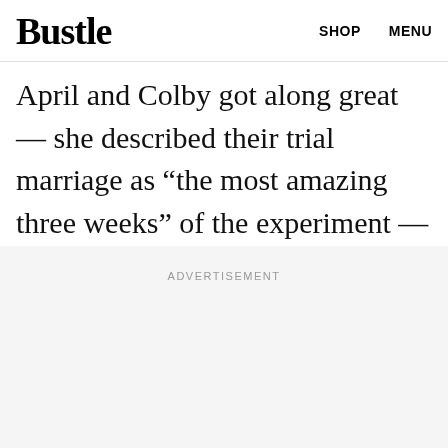Bustle  SHOP  MENU
— whose first choice, Lauren, had already accepted a proposal and bowed out of the series early.
April and Colby got along great — she described their trial marriage as “the most amazing three weeks” of the experiment — but they lacked a physical spark.
ADVERTISEMENT